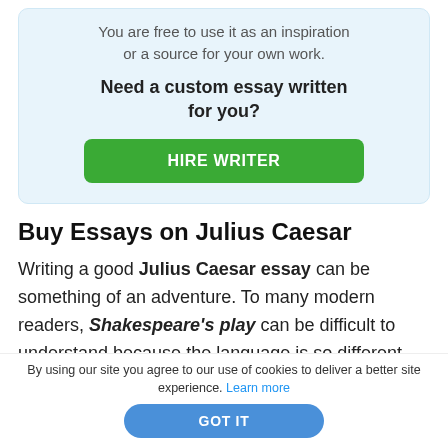You are free to use it as an inspiration or a source for your own work.
Need a custom essay written for you?
HIRE WRITER
Buy Essays on Julius Caesar
Writing a good Julius Caesar essay can be something of an adventure. To many modern readers, Shakespeare's play can be difficult to understand because the language is so different.
By using our site you agree to our use of cookies to deliver a better site experience. Learn more
GOT IT